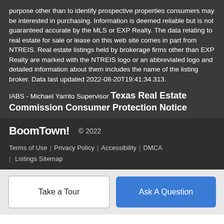purpose other than to identify prospective properties consumers may be interested in purchasing. Information is deemed reliable but is not guaranteed accurate by the MLS or EXP Realty. The data relating to real estate for sale or lease on this web site comes in part from NTREIS. Real estate listings held by brokerage firms other than EXP Realty are marked with the NTREIS logo or an abbreviated logo and detailed information about them includes the name of the listing broker. Data last updated 2022-08-20T19:41:34.313.
IABS - Michael Yarrito Supervisor Texas Real Estate Commission Consumer Protection Notice
BoomTown! © 2022
Terms of Use | Privacy Policy | Accessibility | DMCA | Listings Sitemap
Take a Tour
Ask A Question